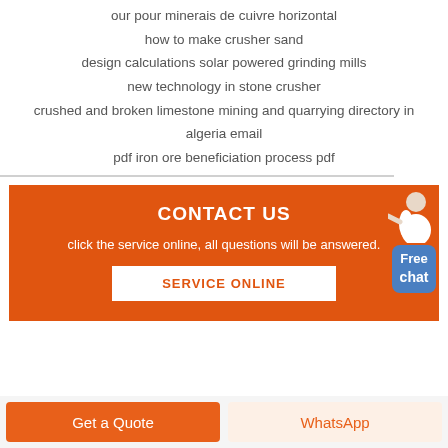our pour minerais de cuivre horizontal
how to make crusher sand
design calculations solar powered grinding mills
new technology in stone crusher
crushed and broken limestone mining and quarrying directory in algeria email
pdf iron ore beneficiation process pdf
CONTACT US
click the service online, all questions will be answered.
SERVICE ONLINE
Get a Quote
WhatsApp